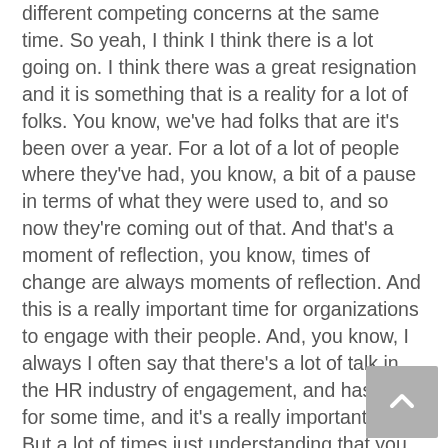different competing concerns at the same time. So yeah, I think I think there is a lot going on. I think there was a great resignation and it is something that is a reality for a lot of folks. You know, we've had folks that are it's been over a year. For a lot of a lot of people where they've had, you know, a bit of a pause in terms of what they were used to, and so now they're coming out of that. And that's a moment of reflection, you know, times of change are always moments of reflection. And this is a really important time for organizations to engage with their people. And, you know, I always I often say that there's a lot of talk in the HR industry of engagement, and has been for some time, and it's a really important topic. But a lot of times just understanding that you have an engagement problem isn't necessarily enough, because what do you do next. And I think talent acquisition, interestingly